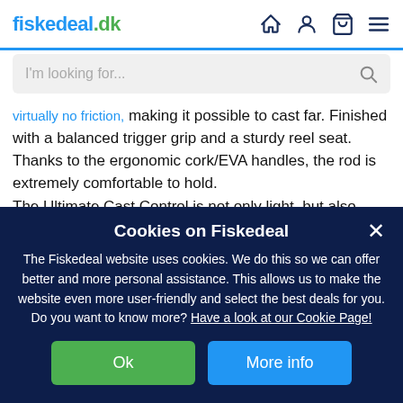fiskedeal.dk
I'm looking for...
virtually no friction, making it possible to cast far. Finished with a balanced trigger grip and a sturdy reel seat. Thanks to the ergonomic cork/EVA handles, the rod is extremely comfortable to hold.
The Ultimate Cast Control is not only light, but also extremely
Cookies on Fiskedeal
The Fiskedeal website uses cookies. We do this so we can offer better and more personal assistance. This allows us to make the website even more user-friendly and select the best deals for you. Do you want to know more? Have a look at our Cookie Page!
Ok
More info